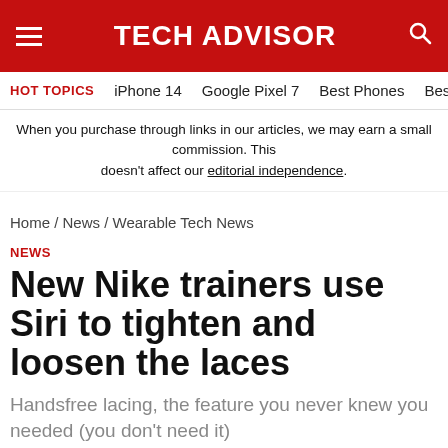TECH ADVISOR
HOT TOPICS  iPhone 14  Google Pixel 7  Best Phones  Best Lapt
When you purchase through links in our articles, we may earn a small commission. This doesn't affect our editorial independence.
Home / News / Wearable Tech News
NEWS
New Nike trainers use Siri to tighten and loosen the laces
Handsfree lacing, the feature you never knew you needed (you don't need it)